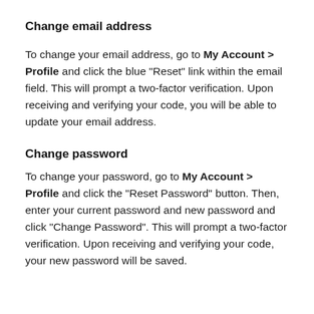Change email address
To change your email address, go to My Account > Profile and click the blue "Reset" link within the email field. This will prompt a two-factor verification. Upon receiving and verifying your code, you will be able to update your email address.
Change password
To change your password, go to My Account > Profile and click the "Reset Password" button. Then, enter your current password and new password and click "Change Password". This will prompt a two-factor verification. Upon receiving and verifying your code, your new password will be saved.